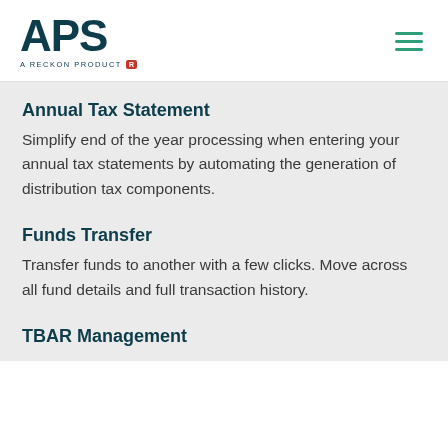[Figure (logo): APS logo with 'A Reckon Product' tagline and red R badge]
Annual Tax Statement
Simplify end of the year processing when entering your annual tax statements by automating the generation of distribution tax components.
Funds Transfer
Transfer funds to another with a few clicks. Move across all fund details and full transaction history.
TBAR Management